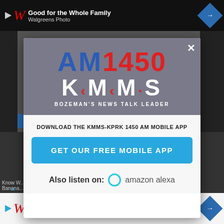[Figure (screenshot): Top Walgreens advertisement bar with logo, 'Good for the Whole Family' text, and navigation arrow icon on dark background]
[Figure (logo): AM 1450 KMMS radio station logo with 'AM' in blue, '1450' in red, 'K·M·M·S' in white, and tagline 'BOZEMAN'S NEWS TALK LEADER']
DOWNLOAD THE KMMS-KPRK 1450 AM MOBILE APP
GET OUR FREE MOBILE APP
Also listen on: amazon alexa
[Figure (screenshot): Bottom Walgreens advertisement with logo, 'Save This Fall! BOGO Free Vitamins and Supplements' text, and navigation arrow diamond icon]